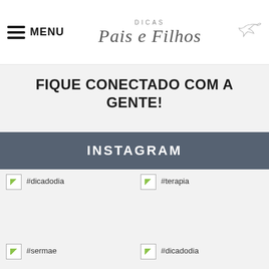MENU | Dicas Pais e Filhos
FIQUE CONECTADO COM A GENTE!
INSTAGRAM
#dicadodia
#terapia
#sermae
#dicadodia